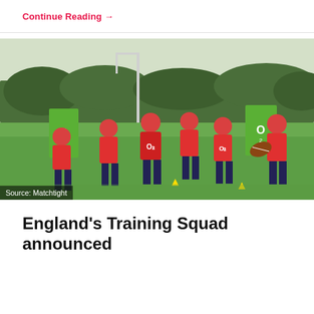Continue Reading →
[Figure (photo): Women's England rugby team players in red O2 jerseys training on a grass pitch with goalposts and green pads in the background. One player holds a rugby ball while others run and interact during a training drill. Source: Matchtight]
Source: Matchtight
England's Training Squad announced